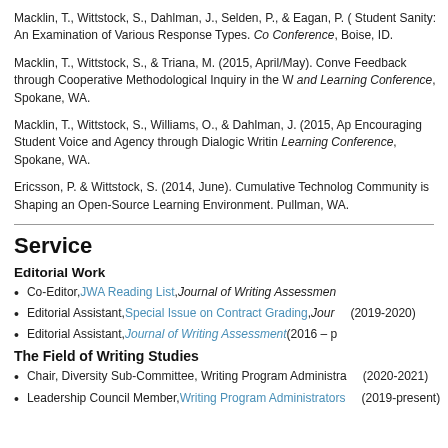Macklin, T., Wittstock, S., Dahlman, J., Selden, P., & Eagan, P. Student Sanity: An Examination of Various Response Types. Conference, Boise, ID.
Macklin, T., Wittstock, S., & Triana, M. (2015, April/May). Conveying Feedback through Cooperative Methodological Inquiry in the Writing and Learning Conference, Spokane, WA.
Macklin, T., Wittstock, S., Williams, O., & Dahlman, J. (2015, April). Encouraging Student Voice and Agency through Dialogic Writing. Learning Conference, Spokane, WA.
Ericsson, P. & Wittstock, S. (2014, June). Cumulative Technology: How Community is Shaping an Open-Source Learning Environment. Pullman, WA.
Service
Editorial Work
Co-Editor, JWA Reading List, Journal of Writing Assessment
Editorial Assistant, Special Issue on Contract Grading, Journal of Writing Assessment (2019-2020)
Editorial Assistant, Journal of Writing Assessment (2016 – present)
The Field of Writing Studies
Chair, Diversity Sub-Committee, Writing Program Administrators (2020-2021)
Leadership Council Member, Writing Program Administrators (2019-present)